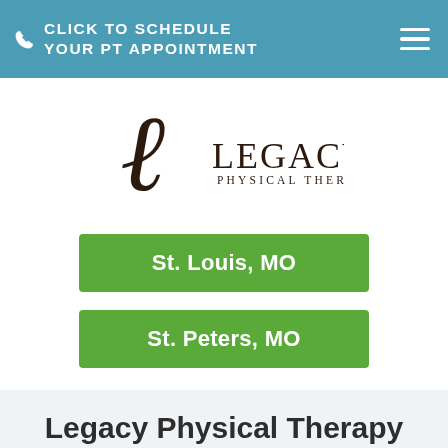CLICK TO SCHEDULE YOUR PT APPOINTMENT
[Figure (logo): Legacy Physical Therapy logo with decorative script L and serif text LEGACY PHYSICAL THERAPY]
St. Louis, MO
St. Peters, MO
Legacy Physical Therapy Privacy Policy